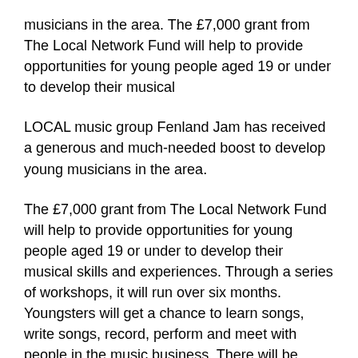musicians in the area. The £7,000 grant from The Local Network Fund will help to provide opportunities for young people aged 19 or under to develop their musical
LOCAL music group Fenland Jam has received a generous and much-needed boost to develop young musicians in the area.
The £7,000 grant from The Local Network Fund will help to provide opportunities for young people aged 19 or under to develop their musical skills and experiences. Through a series of workshops, it will run over six months. Youngsters will get a chance to learn songs, write songs, record, perform and meet with people in the music business. There will be demonstration sessions, visits to venues and recording facilities and lessons on how to promote your act. In